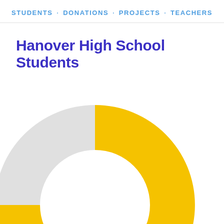STUDENTS · DONATIONS · PROJECTS · TEACHERS
Hanover High School Students
[Figure (donut-chart): Donut chart showing student data for Hanover High School. A large golden/yellow segment covers approximately 75% of the donut, and a light gray segment covers approximately 25%. The chart is partially cropped at the bottom of the page.]